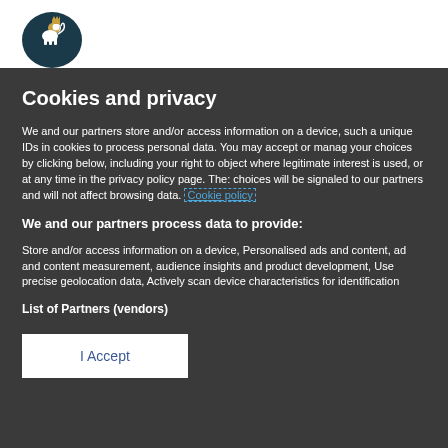[Figure (logo): UK Government coat of arms / lion logo in dark teal circular badge]
Cookies and privacy
We and our partners store and/or access information on a device, such a unique IDs in cookies to process personal data. You may accept or manage your choices by clicking below, including your right to object where legitimate interest is used, or at any time in the privacy policy page. These choices will be signaled to our partners and will not affect browsing data. Cookie policy
We and our partners process data to provide:
Store and/or access information on a device, Personalised ads and content, ad and content measurement, audience insights and product development, Use precise geolocation data, Actively scan device characteristics for identification
List of Partners (vendors)